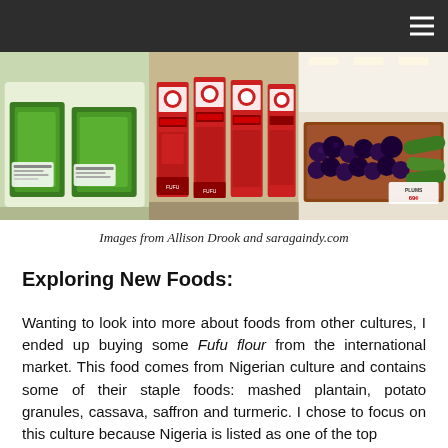[Figure (photo): Three side-by-side grocery store photos: packaged green vegetables on the left, red cartons of Fufu brand flour in the middle, and a produce display with dark plums and cucumbers on the right.]
Images from Allison Drook and saragaindy.com
Exploring New Foods:
Wanting to look into more about foods from other cultures, I ended up buying some Fufu flour from the international market. This food comes from Nigerian culture and contains some of their staple foods: mashed plantain, potato granules, cassava, saffron and turmeric. I chose to focus on this culture because Nigeria is listed as one of the top